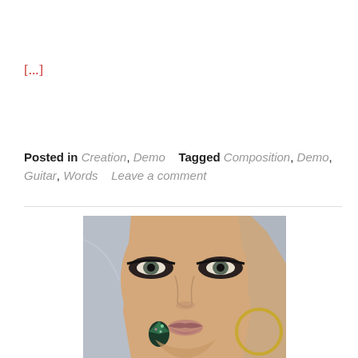[...]
Posted in Creation, Demo   Tagged Composition, Demo, Guitar, Words   Leave a comment
[Figure (photo): Close-up photo of a blonde-haired person with dramatic eye makeup, jeweled facial decoration near the mouth, and a gold circular accessory near the chin.]